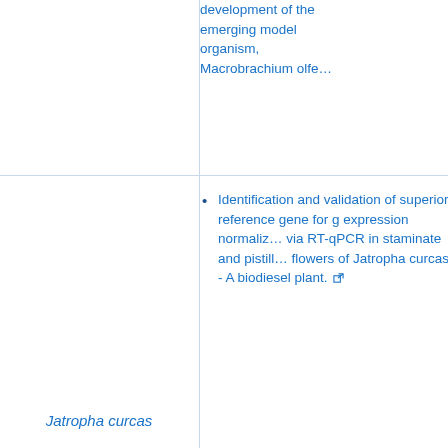| (left) | Organism | Reference/Description |
| --- | --- | --- |
|  |  | development of the emerging model organism, Macrobrachium olfe... |
|  | Jatropha curcas | Identification and validation of superior reference gene for g expression normaliz... via RT-qPCR in staminate and pistill... flowers of Jatropha curcas - A biodiesel plant. |
|  | Sorghum bicolor | Evaluation of Sorgh... [Sorghum bicolor (L... Reference Genes in... Various Tissues and under Abiotic Stress Conditions for Quantitative Real-Ti... |